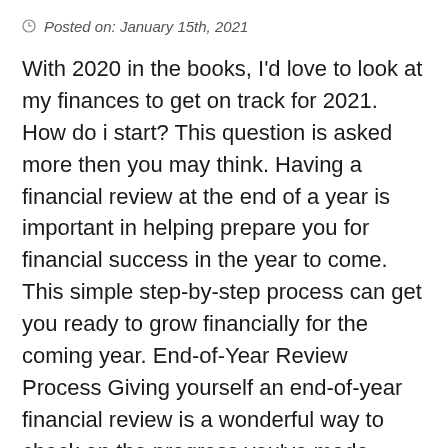Posted on: January 15th, 2021
With 2020 in the books, I'd love to look at my finances to get on track for 2021. How do i start? This question is asked more then you may think. Having a financial review at the end of a year is important in helping prepare you for financial success in the year to come. This simple step-by-step process can get you ready to grow financially for the coming year. End-of-Year Review Process Giving yourself an end-of-year financial review is a wonderful way to check on the progress you've made toward your goals, highlight areas needing improvement and update your accounts, funds and investments. Here's all you need to know… read more »